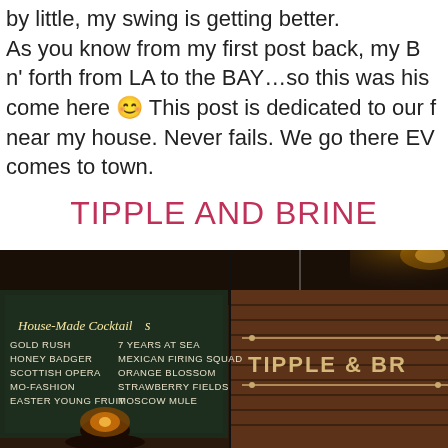by little, my swing is getting better. As you know from my first post back, my B n' forth from LA to the BAY…so this was his come here 😊 This post is dedicated to our f near my house. Never fails. We go there EV comes to town.
TIPPLE AND BRINE
[Figure (photo): Dark interior photo of Tipple & Brine bar showing a chalkboard menu listing House-Made Cocktails including Gold Rush, Honey Badger, Scottish Opera, Mo-Fashion, Easter Young Fruit, 7 Years at Sea, Mexican Firing Squad, Orange Blossom, Strawberry Fields, Moscow Mule, with the Tipple & Brine sign visible on wooden wall panels and a candle/lamp in the foreground]